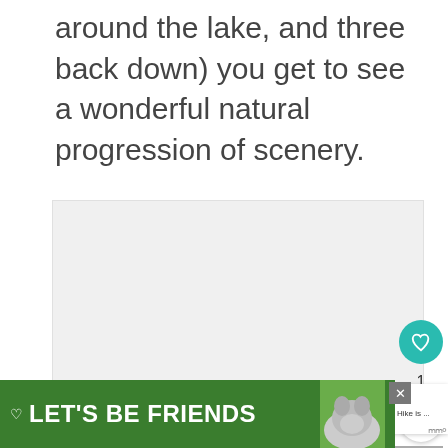around the lake, and three back down) you get to see a wonderful natural progression of scenery.
[Figure (photo): Placeholder image area (light gray), part of a slideshow with dot indicators below]
[Figure (screenshot): UI overlay elements: heart/like button (teal circle, heart icon), count '1', share button, gray block, 'WHAT'S NEXT → The Summit Lake Hike is ...' card with thumbnail, three dot indicators]
[Figure (infographic): Green ad banner at bottom reading 'LET'S BE FRIENDS' with a dog image and close button X, plus a wifi/signal icon to the right]